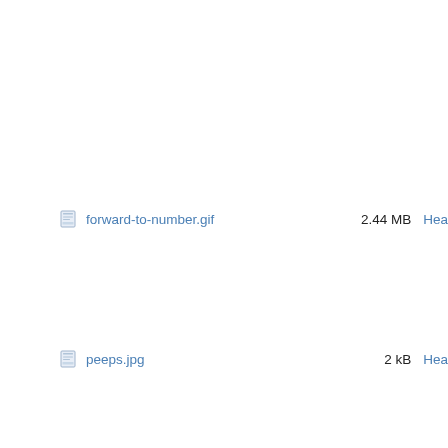forward-to-number.gif  2.44 MB  Hea
peeps.jpg  2 kB  Hea
disable_suggested_meetings.png  75 kB  Phil
6a) Account Type 2.png  205 kB  Chr